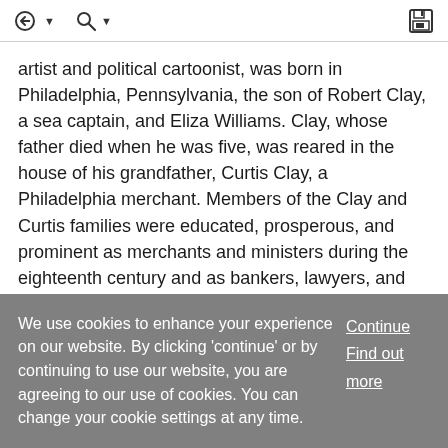[Figure (screenshot): Toolbar with navigation/bookmark icons: back arrow with dropdown, search with dropdown, and save/disk icon on the right]
artist and political cartoonist, was born in Philadelphia, Pennsylvania, the son of Robert Clay, a sea captain, and Eliza Williams. Clay, whose father died when he was five, was reared in the house of his grandfather, Curtis Clay, a Philadelphia merchant. Members of the Clay and Curtis families were educated, prosperous, and prominent as merchants and ministers during the eighteenth century and as bankers, lawyers, and politicians during the early nineteenth century. Clay received a liberal education, r
... Show More
We use cookies to enhance your experience on our website. By clicking 'continue' or by continuing to use our website, you are agreeing to our use of cookies. You can change your cookie settings at any time.
Continue
Find out more